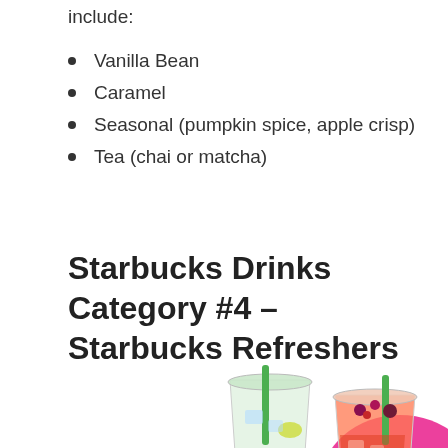include:
Vanilla Bean
Caramel
Seasonal (pumpkin spice, apple crisp)
Tea (chai or matcha)
Starbucks Drinks Category #4 – Starbucks Refreshers
[Figure (photo): Two Starbucks Refreshers drinks in clear plastic cups with green straws and the Starbucks logo. One drink is light green/clear, the other is red/orange with berries and fruit. Colorful background.]